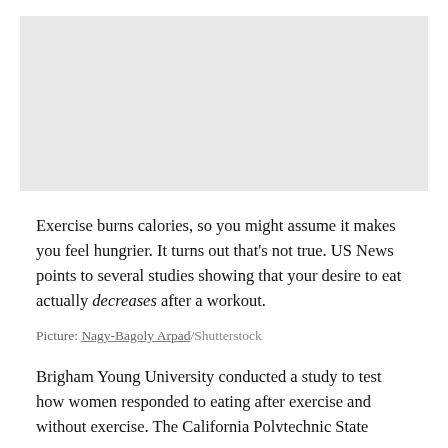[Figure (photo): Light gray placeholder image area at top of page]
Exercise burns calories, so you might assume it makes you feel hungrier. It turns out that’s not true. US News points to several studies showing that your desire to eat actually decreases after a workout.
Picture: Nagy-Bagoly Arpad/Shutterstock
Brigham Young University conducted a study to test how women responded to eating after exercise and without exercise. The California Polytechnic State University conducted a more comprehensive study, including men and